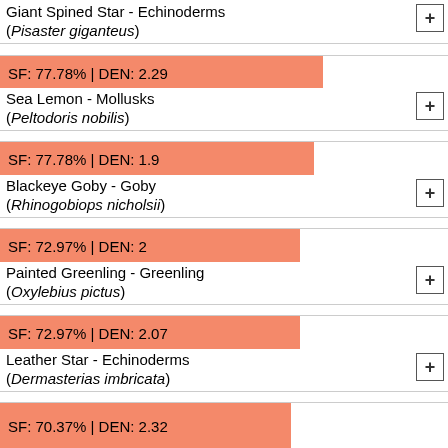Giant Spined Star - Echinoderms (Pisaster giganteus)
[Figure (infographic): Progress bar: SF: 77.78% | DEN: 2.29]
Sea Lemon - Mollusks (Peltodoris nobilis)
[Figure (infographic): Progress bar: SF: 77.78% | DEN: 1.9]
Blackeye Goby - Goby (Rhinogobiops nicholsii)
[Figure (infographic): Progress bar: SF: 72.97% | DEN: 2]
Painted Greenling - Greenling (Oxylebius pictus)
[Figure (infographic): Progress bar: SF: 72.97% | DEN: 2.07]
Leather Star - Echinoderms (Dermasterias imbricata)
[Figure (infographic): Progress bar: SF: 70.37% | DEN: 2.32]
Fluted Bryozoan - Bryozoans (Primavelans insculpta)
[Figure (infographic): Progress bar: SF: 66.67% | DEN: 2.5]
Northern Staghorn Bryozoan - Bryozoans (Heteropora pacifica)
[Figure (infographic): Progress bar: SF: 62.96% | DEN: 2.82 (partial)]